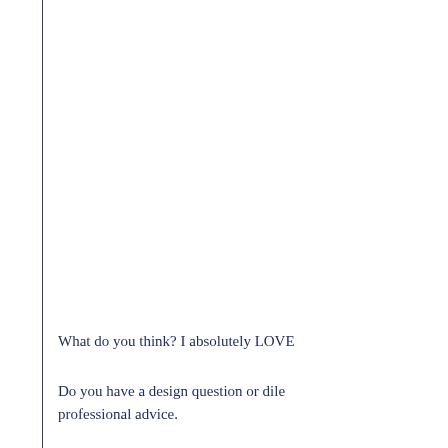What do you think? I absolutely LOVE
Do you have a design question or dilem professional advice.